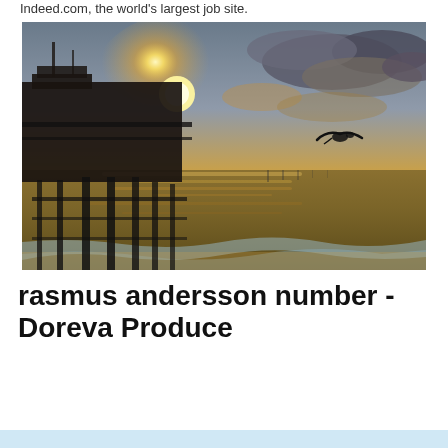Indeed.com, the world's largest job site.
[Figure (photo): Sunset photo of a pier with silhouetted buildings on the left, calm ocean water reflecting golden light, and a seagull in flight on the right side of the image.]
rasmus andersson number - Doreva Produce